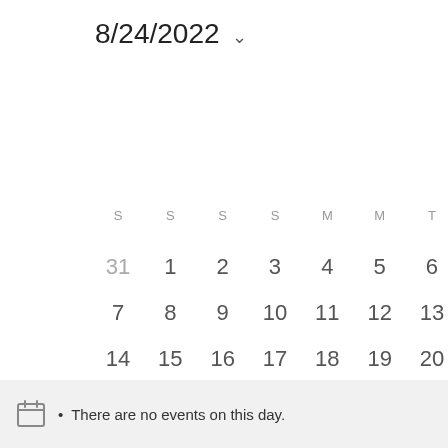8/24/2022
[Figure (other): Monthly calendar view for August 2022, showing dates 31 (July), 1–31 (August), and 1–3 (September). The 24th is highlighted with a blue circle indicating the selected date. Day-of-week headers S, M, T are partially visible.]
There are no events on this day.